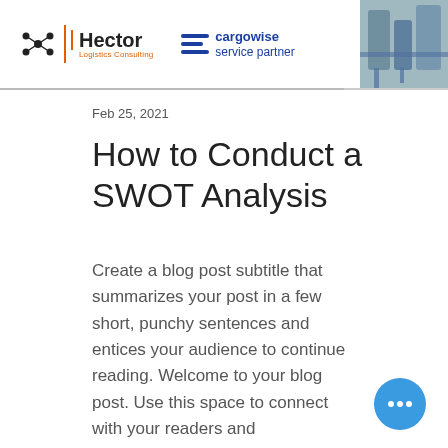[Figure (logo): Hector Logistics Consulting logo with molecular icon and orange text, alongside CargoWise service partner logo in blue, and a photo of industrial tanks/containers in the top right corner]
Feb 25, 2021
How to Conduct a SWOT Analysis
Create a blog post subtitle that summarizes your post in a few short, punchy sentences and entices your audience to continue reading. Welcome to your blog post. Use this space to connect with your readers and